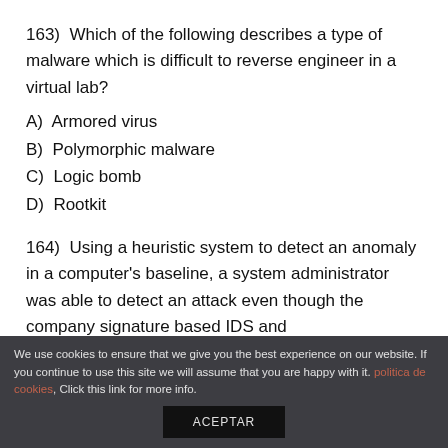163)  Which of the following describes a type of malware which is difficult to reverse engineer in a virtual lab?
A)  Armored virus
B)  Polymorphic malware
C)  Logic bomb
D)  Rootkit
164)  Using a heuristic system to detect an anomaly in a computer's baseline, a system administrator was able to detect an attack even though the company signature based IDS and
We use cookies to ensure that we give you the best experience on our website. If you continue to use this site we will assume that you are happy with it. politica de cookies, Click this link for more info.
ACEPTAR